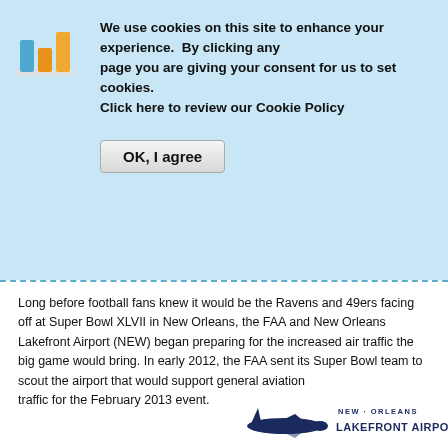We use cookies on this site to enhance your experience.  By clicking any page you are giving your consent for us to set cookies. Click here to review our Cookie Policy
OK, I agree
Long before football fans knew it would be the Ravens and 49ers facing off at Super Bowl XLVII in New Orleans, the FAA and New Orleans Lakefront Airport (NEW) began preparing for the increased air traffic the big game would bring. In early 2012, the FAA sent its Super Bowl team to scout the airport that would support general aviation traffic for the February 2013 event.
[Figure (logo): New Orleans Lakefront Airport logo with airplane silhouette]